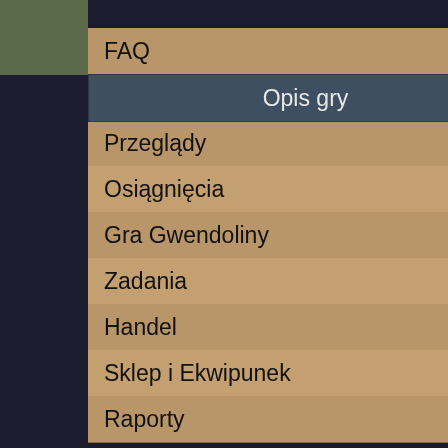FAQ
Opis gry
Przeglądy
Osiągnięcia
Gra Gwendoliny
Zadania
Handel
Sklep i Ekwipunek
Raporty
Wspólna gra
Światy
Punkty Zwycięstwa
Premium
|  |  |
| --- | --- |
| 2 | Poró marc |
|  |  |
| 5 | Faith Palac |
Źródło: „https://pl.wiki.trib title=Piedestał&oldid=74...
Tę stron